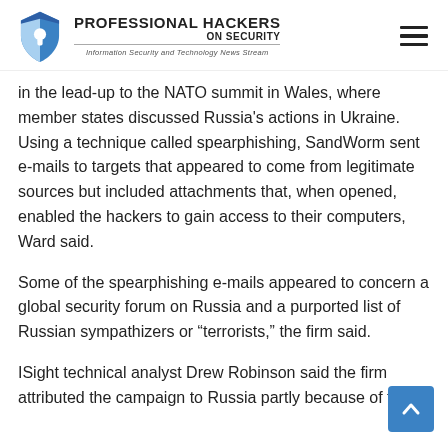Professional Hackers On Security — Information Security and Technology News Stream
in the lead-up to the NATO summit in Wales, where member states discussed Russia’s actions in Ukraine. Using a technique called spearphishing, SandWorm sent e-mails to targets that appeared to come from legitimate sources but included attachments that, when opened, enabled the hackers to gain access to their computers, Ward said.
Some of the spearphishing e-mails appeared to concern a global security forum on Russia and a purported list of Russian sympathizers or “terrorists,” the firm said.
ISight technical analyst Drew Robinson said the firm attributed the campaign to Russia partly because of the